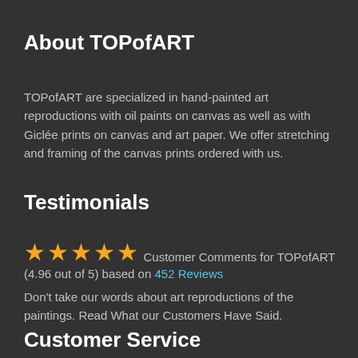About TOPofART
TOPofART are specialized in hand-painted art reproductions with oil paints on canvas as well as with Giclée prints on canvas and art paper. We offer stretching and framing of the canvas prints ordered with us.
Testimonials
★★★★★ Customer Comments for TOPofART (4.96 out of 5) based on 452 Reviews
Don't take our words about art reproductions of the paintings. Read What our Customers Have Said.
Customer Service